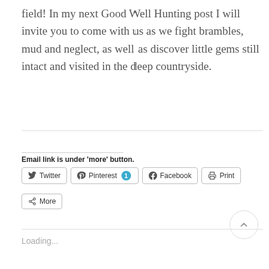field! In my next Good Well Hunting post I will invite you to come with us as we fight brambles, mud and neglect, as well as discover little gems still intact and visited in the deep countryside.
Email link is under 'more' button.
[Figure (screenshot): Social share buttons row: Twitter, Pinterest (badge 1), Facebook, Print, and More]
Loading...